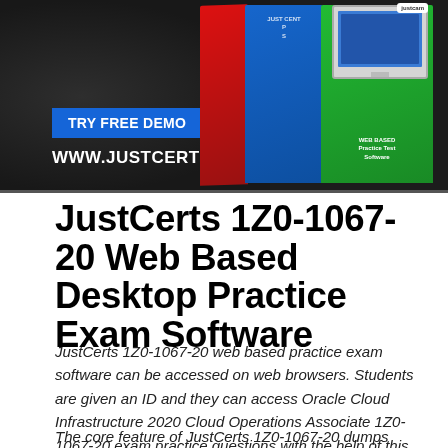[Figure (screenshot): JustCerts promotional banner with dark background, 'TRY FREE DEMO' blue button, 'WWW.JUSTCERTS.COM' text, and product boxes (red, blue, green) with a monitor on the right side.]
JustCerts 1Z0-1067-20 Web Based Desktop Practice Exam Software
JustCerts 1Z0-1067-20 web based practice exam software can be accessed on web browsers. Students are given an ID and they can access Oracle Cloud Infrastructure 2020 Cloud Operations Associate 1Z0-1067-20 exam practice questions with the help of this from anywhere they want.
The core feature of JustCerts 1Z0-1067-20 dumps